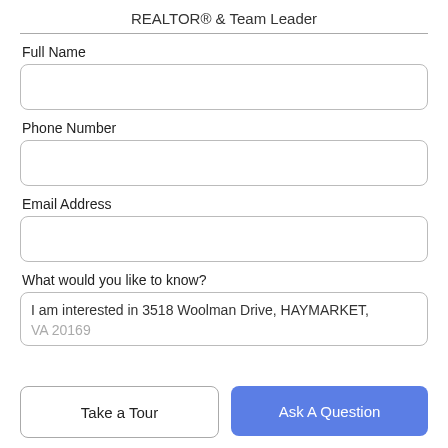REALTOR® & Team Leader
Full Name
Phone Number
Email Address
What would you like to know?
I am interested in 3518 Woolman Drive, HAYMARKET, VA 20169
Take a Tour
Ask A Question